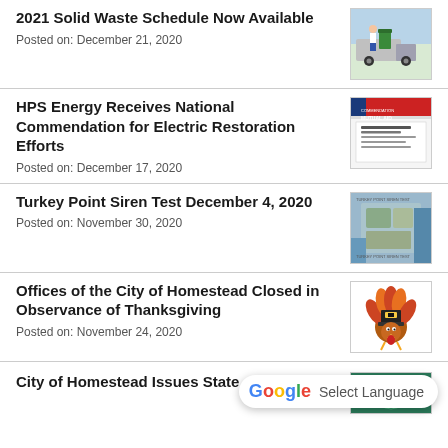2021 Solid Waste Schedule Now Available
Posted on: December 21, 2020
[Figure (photo): Person handling green waste bin near truck]
HPS Energy Receives National Commendation for Electric Restoration Efforts
Posted on: December 17, 2020
[Figure (photo): Mutual Aid Commendation certificate document with red stripe]
Turkey Point Siren Test December 4, 2020
Posted on: November 30, 2020
[Figure (photo): Aerial view of Turkey Point area]
Offices of the City of Homestead Closed in Observance of Thanksgiving
Posted on: November 24, 2020
[Figure (illustration): Cartoon turkey with pilgrim hat]
City of Homestead Issues State
[Figure (photo): City seal or official emblem, teal/green colored]